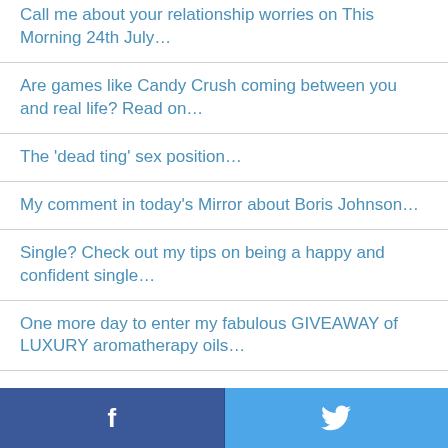Call me about your relationship worries on This Morning 24th July…
Are games like Candy Crush coming between you and real life? Read on…
The 'dead ting' sex position…
My comment in today's Mirror about Boris Johnson…
Single? Check out my tips on being a happy and confident single…
One more day to enter my fabulous GIVEAWAY of LUXURY aromatherapy oils…